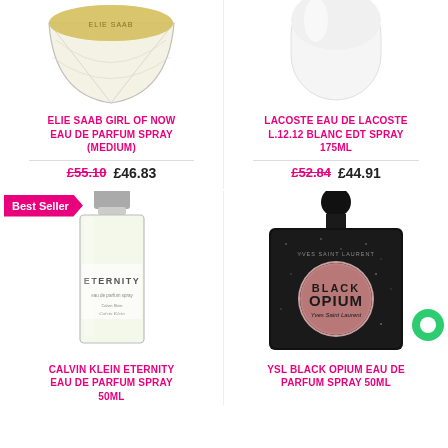[Figure (photo): Elie Saab Girl of Now Eau de Parfum bottle (medium) — circular crystal-cut jar with gold lid, partially cropped at top]
ELIE SAAB GIRL OF NOW EAU DE PARFUM SPRAY (MEDIUM)
£55.10  £46.83
[Figure (photo): Lacoste Eau de Lacoste L.12.12 Blanc EDT Spray 175ml — white rounded bottle, partially cropped at top]
LACOSTE EAU DE LACOSTE L.12.12 BLANC EDT SPRAY 175ML
£52.84  £44.91
[Figure (photo): Calvin Klein Eternity Eau de Parfum Spray 50ml — tall rectangular glass bottle with pale green/clear liquid and silver cap, Best Seller badge]
CALVIN KLEIN ETERNITY EAU DE PARFUM SPRAY 50ML
[Figure (photo): YSL Black Opium Eau de Parfum Spray 50ml — black glitter-textured square bottle with round pink-gold disc on front, black spherical cap]
YSL BLACK OPIUM EAU DE PARFUM SPRAY 50ML